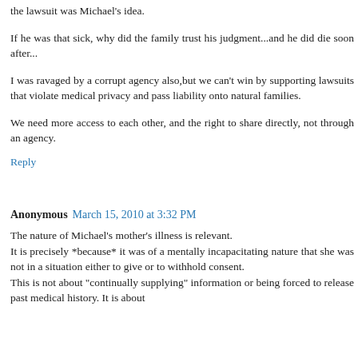the lawsuit was Michael's idea.
If he was that sick, why did the family trust his judgment...and he did die soon after...
I was ravaged by a corrupt agency also,but we can't win by supporting lawsuits that violate medical privacy and pass liability onto natural families.
We need more access to each other, and the right to share directly, not through an agency.
Reply
Anonymous  March 15, 2010 at 3:32 PM
The nature of Michael's mother's illness is relevant.
It is precisely *because* it was of a mentally incapacitating nature that she was not in a situation either to give or to withhold consent.
This is not about "continually supplying" information or being forced to release past medical history. It is about to let her responsible for sharing in the first place and...